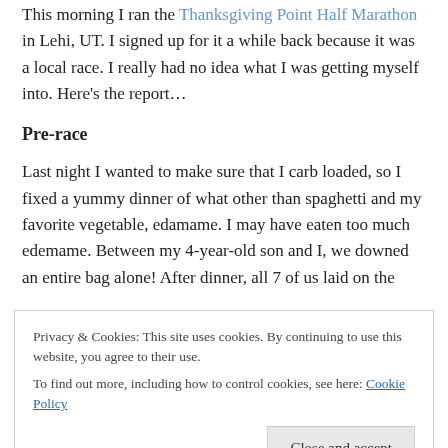This morning I ran the Thanksgiving Point Half Marathon in Lehi, UT. I signed up for it a while back because it was a local race. I really had no idea what I was getting myself into. Here's the report…
Pre-race
Last night I wanted to make sure that I carb loaded, so I fixed a yummy dinner of what other than spaghetti and my favorite vegetable, edamame. I may have eaten too much edemame. Between my 4-year-old son and I, we downed an entire bag alone! After dinner, all 7 of us laid on the
Privacy & Cookies: This site uses cookies. By continuing to use this website, you agree to their use.
To find out more, including how to control cookies, see here: Cookie Policy
about the race; it just kept on jumping around from thought